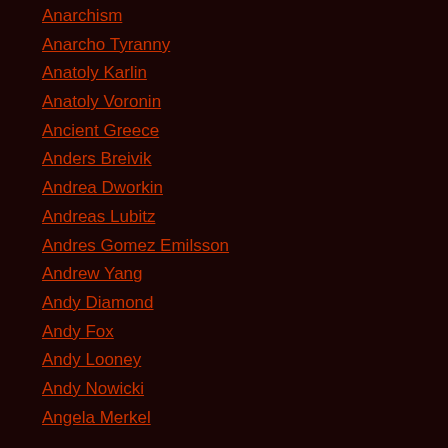Anarchism
Anarcho Tyranny
Anatoly Karlin
Anatoly Voronin
Ancient Greece
Anders Breivik
Andrea Dworkin
Andreas Lubitz
Andres Gomez Emilsson
Andrew Yang
Andy Diamond
Andy Fox
Andy Looney
Andy Nowicki
Angela Merkel